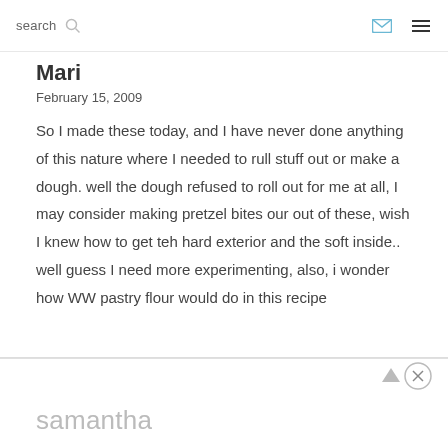search
Mari
February 15, 2009
So I made these today, and I have never done anything of this nature where I needed to rull stuff out or make a dough. well the dough refused to roll out for me at all, I may consider making pretzel bites our out of these, wish I knew how to get teh hard exterior and the soft inside.. well guess I need more experimenting, also, i wonder how WW pastry flour would do in this recipe
samantha